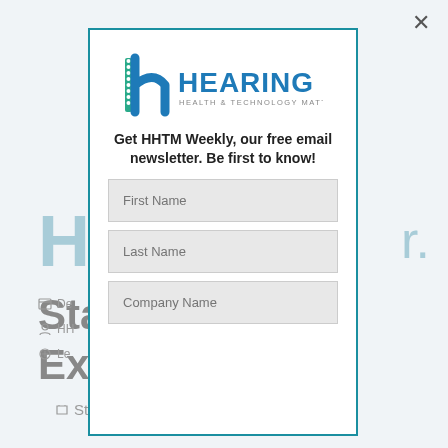[Figure (screenshot): Screenshot of a webpage showing a modal popup overlay for HHTM (Hearing Health & Technology Matters) newsletter signup. The background shows partially visible webpage content with large heading text and sidebar metadata. The modal contains the HHTM logo, a headline, and three form fields for First Name, Last Name, and Company Name. A close button (×) appears in the top right corner.]
Get HHTM Weekly, our free email newsletter. Be first to know!